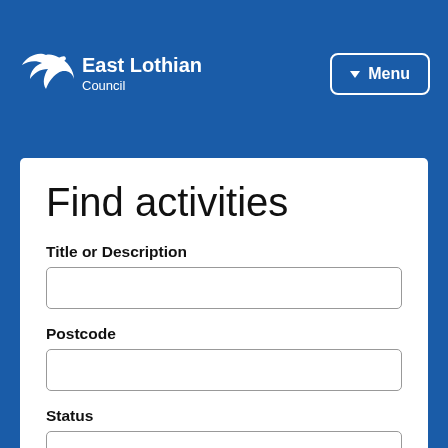[Figure (logo): East Lothian Council logo with white seagull and white text on blue background]
Find activities
Title or Description
Postcode
Status
Any Status